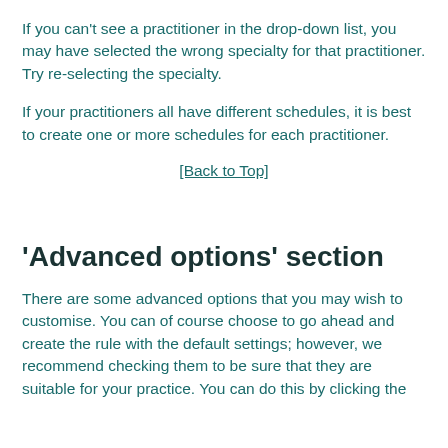If you can't see a practitioner in the drop-down list, you may have selected the wrong specialty for that practitioner. Try re-selecting the specialty.
If your practitioners all have different schedules, it is best to create one or more schedules for each practitioner.
[Back to Top]
'Advanced options' section
There are some advanced options that you may wish to customise. You can of course choose to go ahead and create the rule with the default settings; however, we recommend checking them to be sure that they are suitable for your practice. You can do this by clicking the